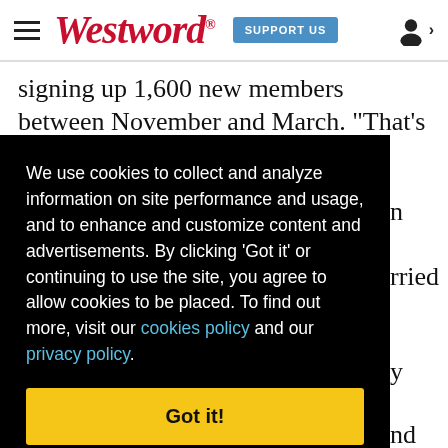Westword | SUPPORT US
signing up 1,600 new members between November and March. "That's probably double
We use cookies to collect and analyze information on site performance and usage, and to enhance and customize content and advertisements. By clicking 'Got it' or continuing to use the site, you agree to allow cookies to be placed. To find out more, visit our cookies policy and our privacy policy.
Got it!
presidents as a holiday gift several years